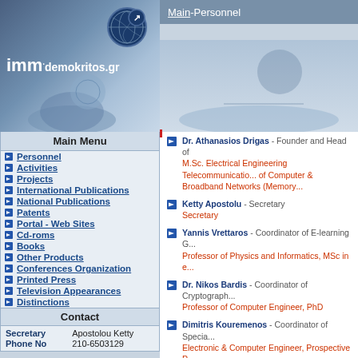[Figure (screenshot): imm.demokritos.gr website logo with globe graphic on blue background]
Main Menu
Personnel
Activities
Projects
International Publications
National Publications
Patents
Portal - Web Sites
Cd-roms
Books
Other Products
Conferences Organization
Printed Press
Television Appearances
Distinctions
Contact
| Label | Value |
| --- | --- |
| Secretary | Apostolou Ketty |
| Phone No | 210-6503129 |
Main-Personnel
Dr. Athanasios Drigas - Founder and Head of... M.Sc. Electrical Engineering Telecommunication... of Computer & Broadband Networks (Memory...
Ketty Apostolu - Secretary
Secretary
Yannis Vrettaros - Coordinator of E-learning G...
Professor of Physics and Informatics, MSc in e...
Dr. Nikos Bardis - Coordinator of Cryptograph...
Professor of Computer Engineer, PhD
Dimitris Kouremenos - Coordinator of Specia...
Electronic & Computer Engineer, Prospective P...
Leyteris Koukianakis - Head of Network and...
Programmer
Yannis Loukidis - Technician
Radio and Television & Audiovisual Technician
Yannis Papagerasimou - External Scientific A...
...